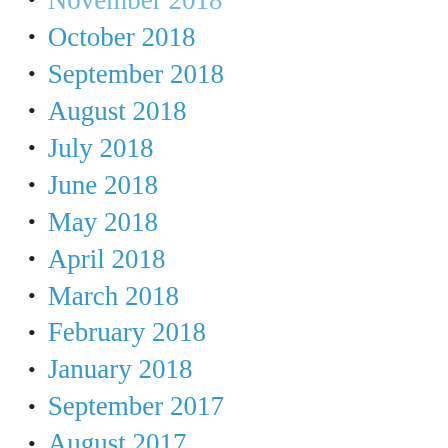November 2018
October 2018
September 2018
August 2018
July 2018
June 2018
May 2018
April 2018
March 2018
February 2018
January 2018
September 2017
August 2017
July 2017
June 2017
May 2017
April 2017